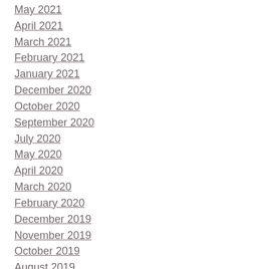May 2021
April 2021
March 2021
February 2021
January 2021
December 2020
October 2020
September 2020
July 2020
May 2020
April 2020
March 2020
February 2020
December 2019
November 2019
October 2019
August 2019
July 2019
June 2019